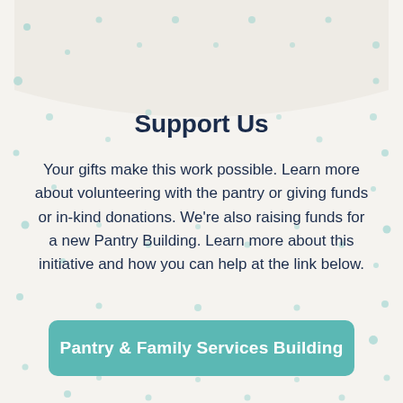Support Us
Your gifts make this work possible. Learn more about volunteering with the pantry or giving funds or in-kind donations. We’re also raising funds for a new Pantry Building. Learn more about this initiative and how you can help at the link below.
Pantry & Family Services Building